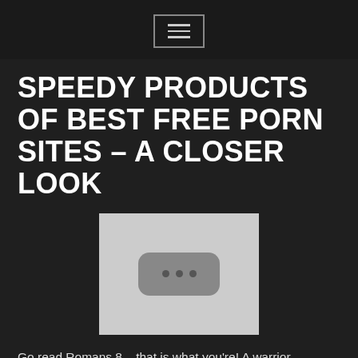☰ menu button
SPEEDY PRODUCTS OF BEST FREE PORN SITES – A CLOSER LOOK
[Figure (illustration): Gray placeholder image box with a rounded rectangle containing three dots, indicating an image loading placeholder.]
Go read Romans 8 – that is what you're! A warrior. Fearless. Of God. Rooted on by God. Will God forgive you again? Sure. Are you stilla Christian? That question implies that the act of watching porn could have erased your initial dedication. The answer is yes, you're still a Christian – porn did not remove